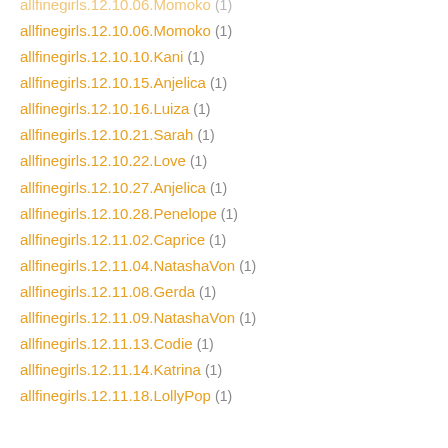allfinegirls.12.10.06.Momoko (1)
allfinegirls.12.10.10.Kani (1)
allfinegirls.12.10.15.Anjelica (1)
allfinegirls.12.10.16.Luiza (1)
allfinegirls.12.10.21.Sarah (1)
allfinegirls.12.10.22.Love (1)
allfinegirls.12.10.27.Anjelica (1)
allfinegirls.12.10.28.Penelope (1)
allfinegirls.12.11.02.Caprice (1)
allfinegirls.12.11.04.NatashaVon (1)
allfinegirls.12.11.08.Gerda (1)
allfinegirls.12.11.09.NatashaVon (1)
allfinegirls.12.11.13.Codie (1)
allfinegirls.12.11.14.Katrina (1)
allfinegirls.12.11.18.LollyPop (1)